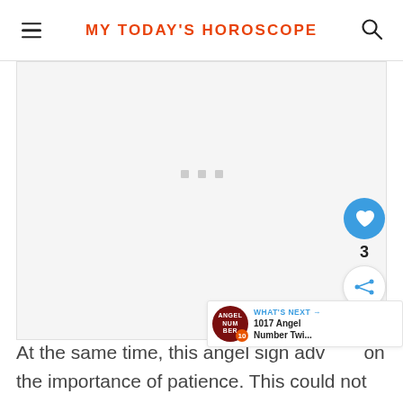MY TODAY'S HOROSCOPE
[Figure (other): Advertisement placeholder block with three gray dots in the center]
At the same time, this angel sign adv… on the importance of patience. This could not